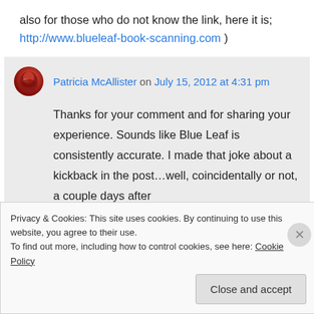also for those who do not know the link, here it is; http://www.blueleaf-book-scanning.com )
Patricia McAllister on July 15, 2012 at 4:31 pm
Thanks for your comment and for sharing your experience. Sounds like Blue Leaf is consistently accurate. I made that joke about a kickback in the post…well, coincidentally or not, a couple days after
Privacy & Cookies: This site uses cookies. By continuing to use this website, you agree to their use.
To find out more, including how to control cookies, see here: Cookie Policy
Close and accept